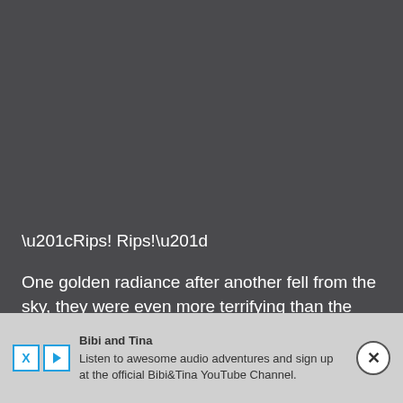“Rips! Rips!”
One golden radiance after another fell from the sky, they were even more terrifying than the sharp sword-qi. Each golden radiance contained a frightening power. This was the unique divine magic of the dragons!
Everyone could already tell, the wobbly Tenax definitely wouldn’t be safe. that dea...
[Figure (screenshot): Advertisement overlay: Bibi and Tina audio adventures ad with close button]